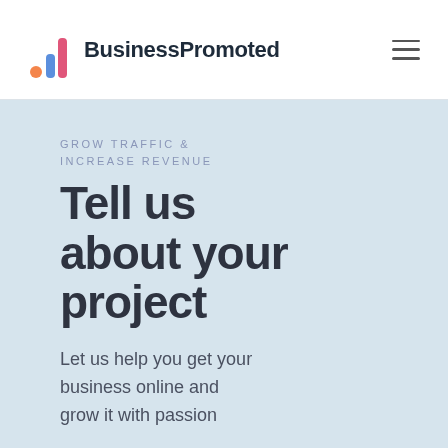BusinessPromoted
GROW TRAFFIC & INCREASE REVENUE
Tell us about your project
Let us help you get your business online and grow it with passion